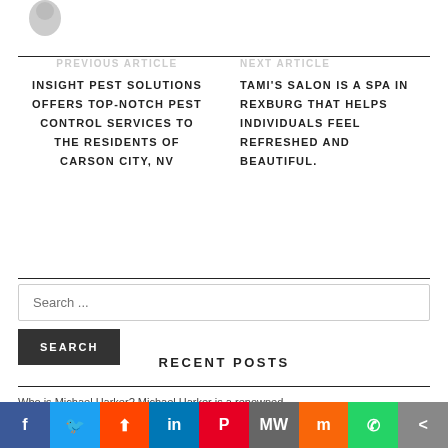[Figure (illustration): Partial avatar/profile image icon (grey silhouette) at top left]
PREVIOUS ARTICLE
INSIGHT PEST SOLUTIONS OFFERS TOP-NOTCH PEST CONTROL SERVICES TO THE RESIDENTS OF CARSON CITY, NV
NEXT ARTICLE
TAMI'S SALON IS A SPA IN REXBURG THAT HELPS INDIVIDUALS FEEL REFRESHED AND BEAUTIFUL.
Search ...
SEARCH
RECENT POSTS
Who is Michael Harker? Michael Harker is a renowned...